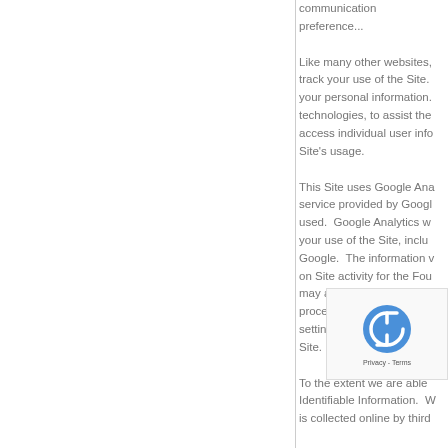communication preference...
Like many other websites, track your use of the Site. your personal information. technologies, to assist the access individual user info Site's usage.
This Site uses Google Ana service provided by Googl used. Google Analytics w your use of the Site, inclu Google. The information v on Site activity for the Fou may also transfer this info process the information on settings on your browser. Site. The use of cookies b
To the extent we are able Identifiable Information. W is collected online by third
The Foundatio us. We may a information abo distribute e-mail and to n
[Figure (other): reCAPTCHA widget overlay showing the reCAPTCHA logo (circular arrows) and Privacy - Terms text]